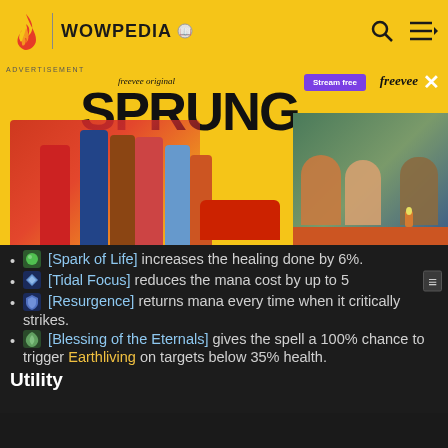WOWPEDIA
[Figure (infographic): Freevee original 'SPRUNG' advertisement banner with cast photo and car scene photo]
[Spark of Life] increases the healing done by 6%.
[Tidal Focus] reduces the mana cost by up to 5
[Resurgence] returns mana every time when it critically strikes.
[Blessing of the Eternals] gives the spell a 100% chance to trigger Earthliving on targets below 35% health.
Utility